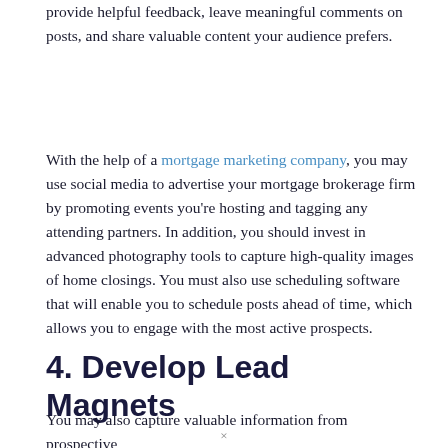provide helpful feedback, leave meaningful comments on posts, and share valuable content your audience prefers.
With the help of a mortgage marketing company, you may use social media to advertise your mortgage brokerage firm by promoting events you're hosting and tagging any attending partners. In addition, you should invest in advanced photography tools to capture high-quality images of home closings. You must also use scheduling software that will enable you to schedule posts ahead of time, which allows you to engage with the most active prospects.
4. Develop Lead Magnets
You may also capture valuable information from prospective